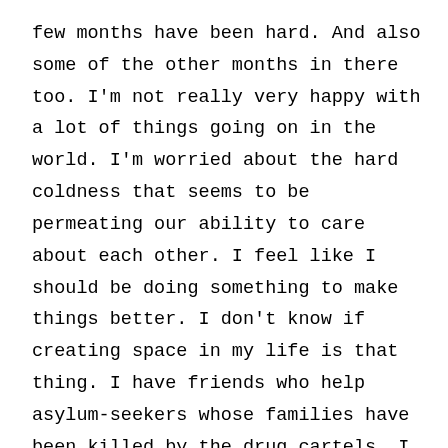few months have been hard. And also some of the other months in there too. I'm not really very happy with a lot of things going on in the world. I'm worried about the hard coldness that seems to be permeating our ability to care about each other. I feel like I should be doing something to make things better. I don't know if creating space in my life is that thing. I have friends who help asylum-seekers whose families have been killed by the drug cartels. I have friends who do investigations into the disproportionate number of prison deaths for mentally ill inmates. (I have friends who